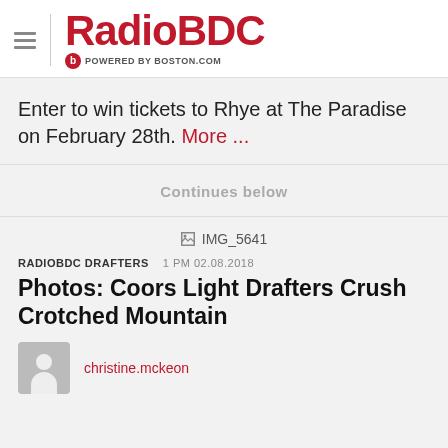RadioBDC POWERED BY BOSTON.COM
Enter to win tickets to Rhye at The Paradise on February 28th. More ...
Continues below
[Figure (photo): IMG_5641 image placeholder (broken image icon)]
RADIOBDC DRAFTERS   1 PM 02.08.2018
Photos: Coors Light Drafters Crush Crotched Mountain
christine.mckeon